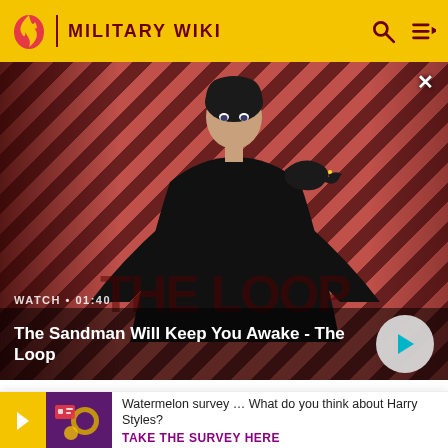MILITARY WIKI
[Figure (screenshot): Video thumbnail for 'The Sandman Will Keep You Awake - The Loop' showing a dark figure with a raven on a red diagonal striped background]
WATCH • 01:40
The Sandman Will Keep You Awake - The Loop
also pumped water from the River Nile along the Sweet Water Canal to supply the troops and the towns on the Suez
Watermelon survey … What do you think about Harry Styles? TAKE THE SURVEY HERE